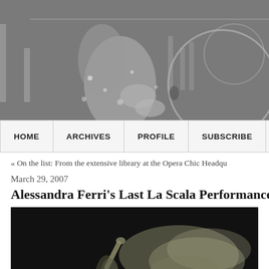[Figure (photo): Black and white artistic photo of a dancer or performer with dramatic lighting, overlaid with large graphic circular/typographic design elements in gray]
HOME   ARCHIVES   PROFILE   SUBSCRIBE
« On the list: From the extensive library at the Opera Chic Headqu
March 29, 2007
Alessandra Ferri's Last La Scala Performances B
[Figure (photo): Dark artistic photo of a ballet dancer with a flowing light-colored costume or fabric, arm raised, against a very dark background]